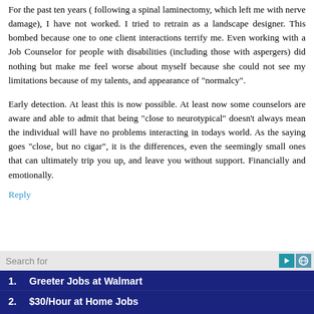For the past ten years ( following a spinal laminectomy, which left me with nerve damage), I have not worked. I tried to retrain as a landscape designer. This bombed because one to one client interactions terrify me. Even working with a Job Counselor for people with disabilities (including those with aspergers) did nothing but make me feel worse about myself because she could not see my limitations because of my talents, and appearance of "normalcy".
Early detection. At least this is now possible. At least now some counselors are aware and able to admit that being "close to neurotypical" doesn't always mean the individual will have no problems interacting in todays world. As the saying goes "close, but no cigar", it is the differences, even the seemingly small ones that can ultimately trip you up, and leave you without support. Financially and emotionally.
Reply
Search for
1. Greeter Jobs at Walmart
2. $30/Hour at Home Jobs